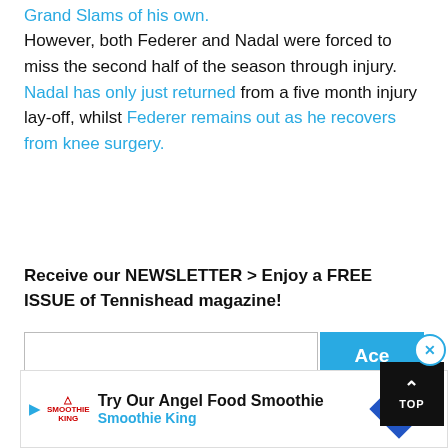Grand Slams of his own.
However, both Federer and Nadal were forced to miss the second half of the season through injury. Nadal has only just returned from a five month injury lay-off, whilst Federer remains out as he recovers from knee surgery.
Receive our NEWSLETTER > Enjoy a FREE ISSUE of Tennishead magazine!
[Figure (other): Email newsletter signup input box with blue 'Ace me!' button]
Swiss Maestro Federer announced in November that he will definitely miss
[Figure (other): Advertisement bar: Try Our Angel Food Smoothie - Smoothie King with navigation icon]
[Figure (other): TOP scroll-to-top button, dark background with up arrow]